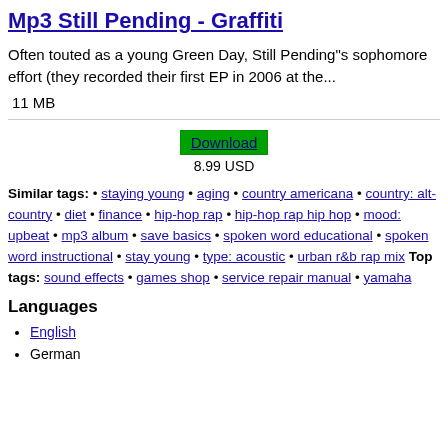Mp3 Still Pending - Graffiti
Often touted as a young Green Day, Still Pending"s sophomore effort (they recorded their first EP in 2006 at the...
11 MB
Download
8.99 USD
Similar tags: • staying young • aging • country americana • country: alt-country • diet • finance • hip-hop rap • hip-hop rap hip hop • mood: upbeat • mp3 album • save basics • spoken word educational • spoken word instructional • stay young • type: acoustic • urban r&b rap mix Top tags: sound effects • games shop • service repair manual • yamaha
Languages
English
German